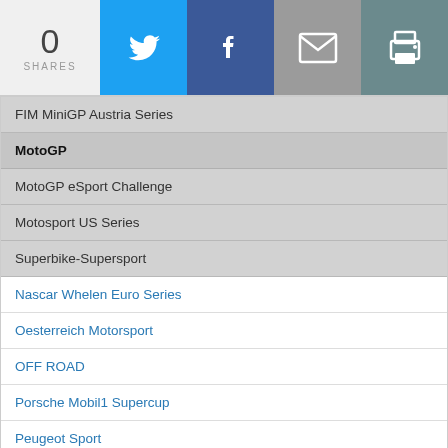0 SHARES
FIM MiniGP Austria Series
MotoGP
MotoGP eSport Challenge
Motosport US Series
Superbike-Supersport
Nascar Whelen Euro Series
Oesterreich Motorsport
OFF ROAD
Porsche Mobil1 Supercup
Peugeot Sport
Prototype German Cup
Radical race series
Rally international
Renault Sport Academy
South African Motorsport
Speedcar Series
Sports Car Challenge